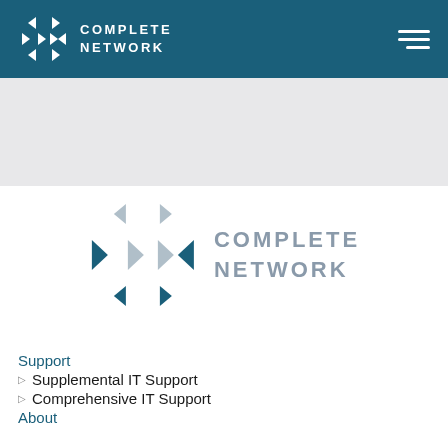[Figure (logo): Complete Network logo in white on dark teal navigation bar with hamburger menu icon]
[Figure (logo): Complete Network logo centered on white background — arrow/chevron icon in steel blue and grey, with COMPLETE NETWORK text in grey]
Support
▷ Supplemental IT Support
▷ Comprehensive IT Support
About